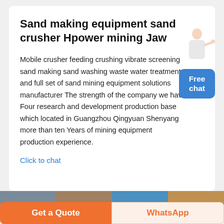Sand making equipment sand crusher Hpower mining Jaw
Mobile crusher feeding crushing vibrate screening sand making sand washing waste water treatment and full set of sand mining equipment solutions manufacturer The strength of the company we have Four research and development production base which located in Guangzhou Qingyuan Shenyang more than ten Years of mining equipment production experience.
Click to chat
[Figure (illustration): Person standing and pointing, overlaid with a blue 'Free chat' badge button]
[Figure (photo): Horizontal strip of four thumbnail images partially visible at bottom of main content area]
Get a Quote
WhatsApp